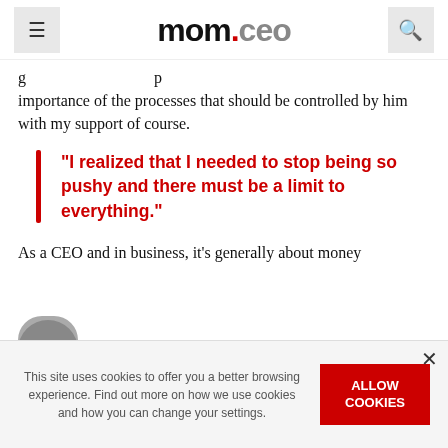momceo
importance of the processes that should be controlled by him with my support of course.
"I realized that I needed to stop being so pushy and there must be a limit to everything."
As a CEO and in business, it’s generally about money
This site uses cookies to offer you a better browsing experience. Find out more on how we use cookies and how you can change your settings.